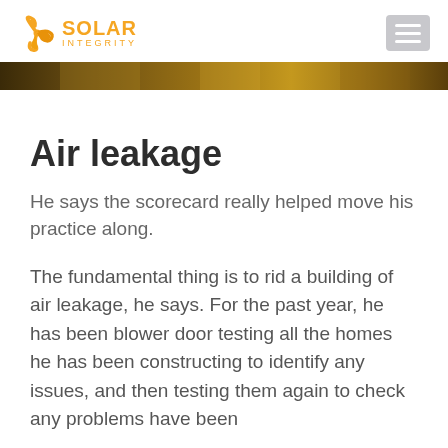Solar Integrity
[Figure (photo): Partial hero/banner image at top of article, showing a warm-toned blurred background (brown/golden tones), cropped at bottom of header area.]
Air leakage
He says the scorecard really helped move his practice along.
The fundamental thing is to rid a building of air leakage, he says. For the past year, he has been blower door testing all the homes he has been constructing to identify any issues, and then testing them again to check any problems have been